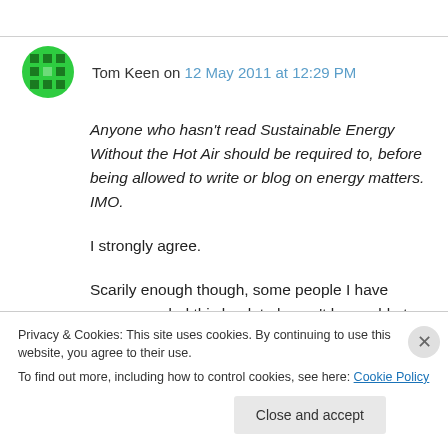Tom Keen on 12 May 2011 at 12:29 PM
Anyone who hasn’t read Sustainable Energy Without the Hot Air should be required to, before being allowed to write or blog on energy matters. IMO.
I strongly agree.
Scarily enough though, some people I have recommended this book to haven’t been able to
Privacy & Cookies: This site uses cookies. By continuing to use this website, you agree to their use.
To find out more, including how to control cookies, see here: Cookie Policy